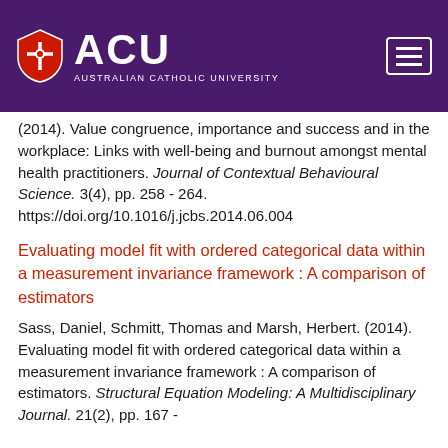[Figure (logo): ACU Australian Catholic University logo with shield icon on purple header bar with hamburger menu button]
(2014). Value congruence, importance and success and in the workplace: Links with well-being and burnout amongst mental health practitioners. Journal of Contextual Behavioural Science. 3(4), pp. 258 - 264. https://doi.org/10.1016/j.jcbs.2014.06.004
Evaluating model fit with ordered categorical data within a measurement invariance framework : A comparison of estimators
Sass, Daniel, Schmitt, Thomas and Marsh, Herbert. (2014). Evaluating model fit with ordered categorical data within a measurement invariance framework : A comparison of estimators. Structural Equation Modeling: A Multidisciplinary Journal. 21(2), pp. 167 -